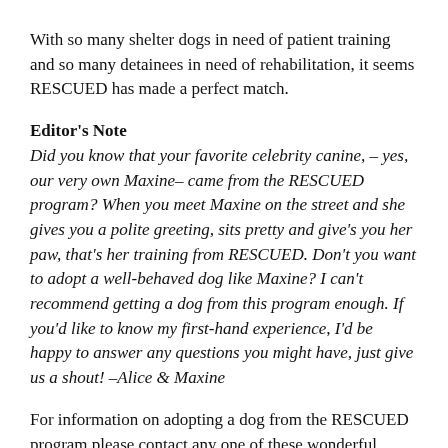With so many shelter dogs in need of patient training and so many detainees in need of rehabilitation, it seems RESCUED has made a perfect match.
Editor's Note
Did you know that your favorite celebrity canine, – yes, our very own Maxine– came from the RESCUED program? When you meet Maxine on the street and she gives you a polite greeting, sits pretty and give's you her paw, that's her training from RESCUED. Don't you want to adopt a well-behaved dog like Maxine? I can't recommend getting a dog from this program enough. If you'd like to know my first-hand experience, I'd be happy to answer any questions you might have, just give us a shout! –Alice & Maxine
For information on adopting a dog from the RESCUED program please contact any one of these wonderful organizations